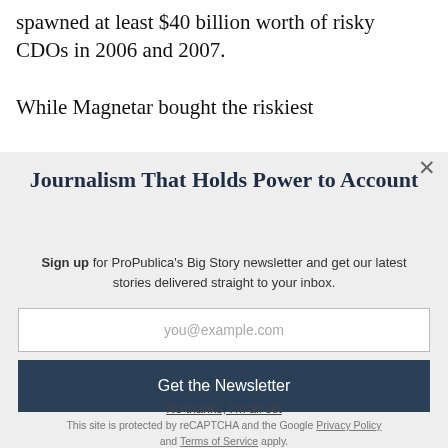spawned at least $40 billion worth of risky CDOs in 2006 and 2007.

While Magnetar bought the riskiest
Journalism That Holds Power to Account
Sign up for ProPublica's Big Story newsletter and get our latest stories delivered straight to your inbox.
you@example.com
Get the Newsletter
No thanks, I'm all set
This site is protected by reCAPTCHA and the Google Privacy Policy and Terms of Service apply.